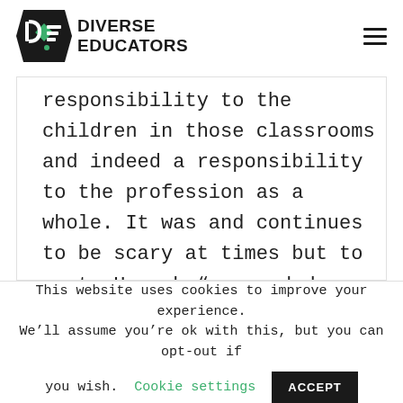[Figure (logo): Diverse Educators logo with stylized DE icon in black and green, followed by bold text 'DIVERSE EDUCATORS']
responsibility to the children in those classrooms and indeed a responsibility to the profession as a whole. It was and continues to be scary at times but to quote Hannah “we needed
This website uses cookies to improve your experience. We’ll assume you’re ok with this, but you can opt-out if you wish.
Cookie settings
ACCEPT